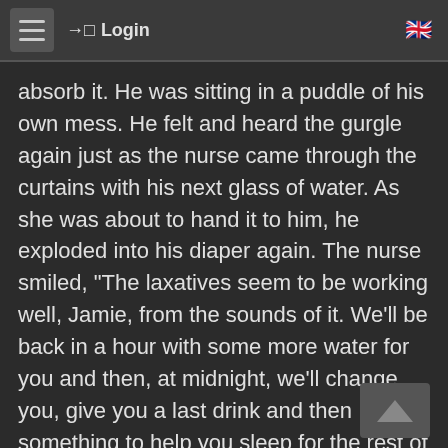Login
absorb it. He was sitting in a puddle of his own mess. He felt and heard the gurgle again just as the nurse came through the curtains with his next glass of water. As she was about to hand it to him, he exploded into his diaper again. The nurse smiled, "The laxatives seem to be working well, Jamie, from the sounds of it. We'll be back in a hour with some more water for you and then, at midnight, we'll change you, give you a last drink and then something to help you sleep for the rest of the night. Hopefully, you won't wake up until after breakfast so